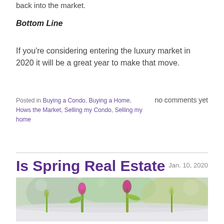back into the market.
Bottom Line
If you're considering entering the luxury market in 2020 it will be a great year to make that move.
Posted in Buying a Condo, Buying a Home, Hows the Market, Selling my Condo, Selling my home
no comments yet
Is Spring Real Estate Market is Here?
Jan. 10, 2020
[Figure (photo): Photo of spring flowers (tulips or similar bulbs) emerging through snow, blurred background with greenery]